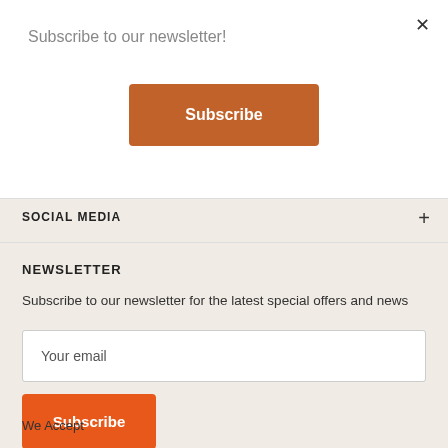Subscribe to our newsletter!
Subscribe
SOCIAL MEDIA
NEWSLETTER
Subscribe to our newsletter for the latest special offers and news
Your email
Subscribe
We Accept